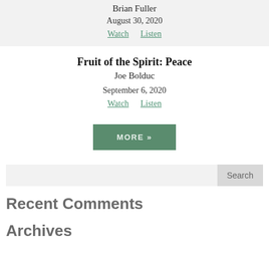Brian Fuller
August 30, 2020
Watch   Listen
Fruit of the Spirit: Peace
Joe Bolduc
September 6, 2020
Watch   Listen
MORE »
Search
Recent Comments
Archives